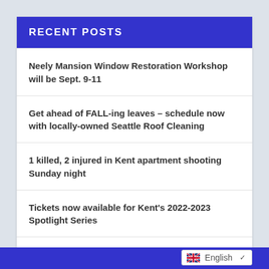RECENT POSTS
Neely Mansion Window Restoration Workshop will be Sept. 9-11
Get ahead of FALL-ing leaves – schedule now with locally-owned Seattle Roof Cleaning
1 killed, 2 injured in Kent apartment shooting Sunday night
Tickets now available for Kent's 2022-2023 Spotlight Series
Suspect charged with possessing ghost gun and drugs after being caught in stolen vehicle in Kent
English